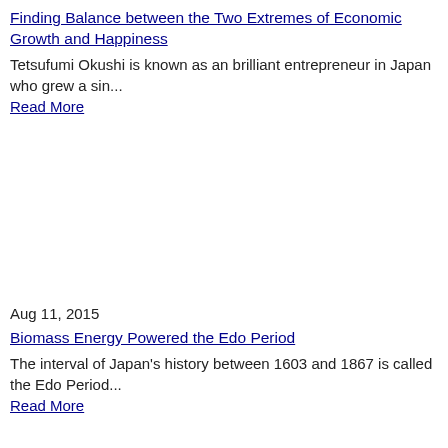Finding Balance between the Two Extremes of Economic Growth and Happiness
Tetsufumi Okushi is known as an brilliant entrepreneur in Japan who grew a sin...
Read More
Aug 11, 2015
Biomass Energy Powered the Edo Period
The interval of Japan's history between 1603 and 1867 is called the Edo Period...
Read More